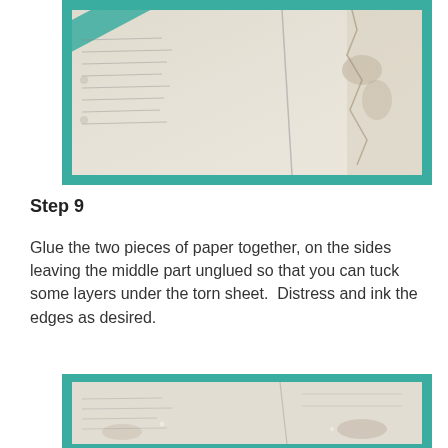[Figure (photo): Photo of distressed old paper sheets with handwritten text, arranged on a teal/turquoise background. One sheet is torn and layered over another.]
Step 9
Glue the two pieces of paper together, on the sides leaving the middle part unglued so that you can tuck some layers under the torn sheet.  Distress and ink the edges as desired.
[Figure (photo): Partial photo of distressed old paper sheets laid flat on a teal/turquoise background, showing the bottom portion of the assembled pieces.]